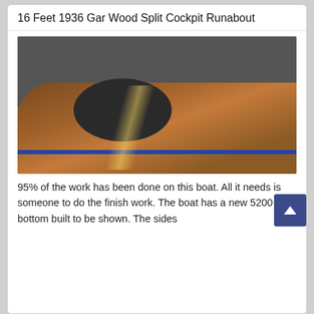16 Feet 1936 Gar Wood Split Cockpit Runabout
[Figure (photo): A 1936 Gar Wood Split Cockpit Runabout boat under restoration in a workshop. The wooden boat has a mahogany hull with visible cockpit and a blue strip along the bottom. Workshop equipment visible in the background.]
95% of the work has been done on this boat. All it needs is someone to do the finish work. The boat has a new 5200 bottom built to be shown. The sides